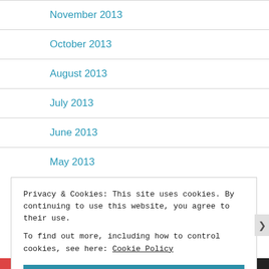November 2013
October 2013
August 2013
July 2013
June 2013
May 2013
Privacy & Cookies: This site uses cookies. By continuing to use this website, you agree to their use.
To find out more, including how to control cookies, see here: Cookie Policy
Close and accept